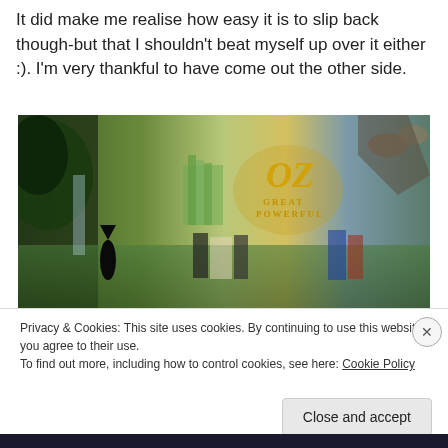It did make me realise how easy it is to slip back though-but that I shouldn't beat myself up over it either :). I'm very thankful to have come out the other side.
[Figure (photo): Movie poster for 'Oz the Great and Powerful' showing colorful fantasy landscape with characters from the film, witches, flying creatures, and the Emerald City in the background.]
Privacy & Cookies: This site uses cookies. By continuing to use this website, you agree to their use.
To find out more, including how to control cookies, see here: Cookie Policy
Close and accept